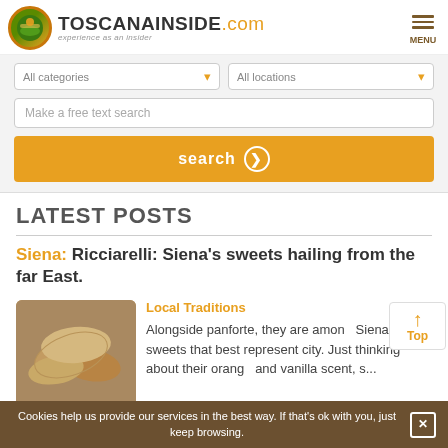[Figure (logo): ToscannaInside.com logo with circular green/orange emblem and tagline 'experience as an insider']
[Figure (other): Menu hamburger icon with MENU label]
All categories ▾
All locations ▾
Make a free text search
search ❯
LATEST POSTS
Siena: Ricciarelli: Siena's sweets hailing from the far East.
[Figure (photo): Photo of Ricciarelli cookies, almond-shaped pastries dusted with powdered sugar]
Local Traditions
Alongside panforte, they are among Siena's sweets that best represent the city. Just thinking about their orange and vanilla scent, s...
Cookies help us provide our services in the best way. If that's ok with you, just keep browsing.